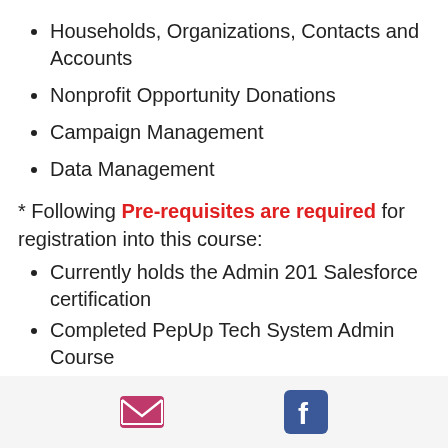Households, Organizations, Contacts and Accounts
Nonprofit Opportunity Donations
Campaign Management
Data Management
* Following Pre-requisites are required for registration into this course:
Currently holds the Admin 201 Salesforce certification
Completed PepUp Tech System Admin Course
or Currently or previously
[email icon] [facebook icon]